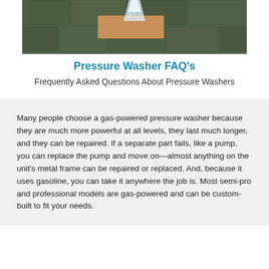[Figure (photo): Pressure washer spraying water onto a brick or paving stone surface, cleaning moss and dirt from between the stones.]
Pressure Washer FAQ's
Frequently Asked Questions About Pressure Washers
Many people choose a gas-powered pressure washer because they are much more powerful at all levels, they last much longer, and they can be repaired. If a separate part fails, like a pump, you can replace the pump and move on—almost anything on the unit's metal frame can be repaired or replaced. And, because it uses gasoline, you can take it anywhere the job is. Most semi-pro and professional models are gas-powered and can be custom-built to fit your needs.